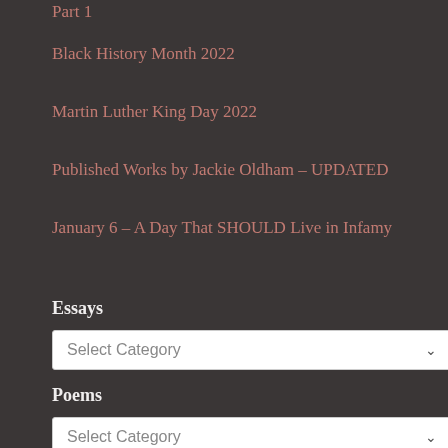Part 1
Black History Month 2022
Martin Luther King Day 2022
Published Works by Jackie Oldham – UPDATED
January 6 – A Day That SHOULD Live in Infamy
Essays
Select Category
Poems
Select Category